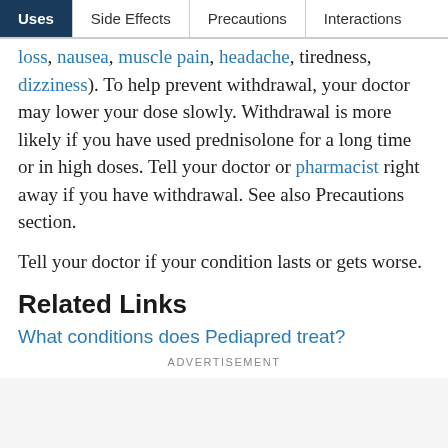Uses | Side Effects | Precautions | Interactions
loss, nausea, muscle pain, headache, tiredness, dizziness). To help prevent withdrawal, your doctor may lower your dose slowly. Withdrawal is more likely if you have used prednisolone for a long time or in high doses. Tell your doctor or pharmacist right away if you have withdrawal. See also Precautions section.

Tell your doctor if your condition lasts or gets worse.
Related Links
What conditions does Pediapred treat?
ADVERTISEMENT